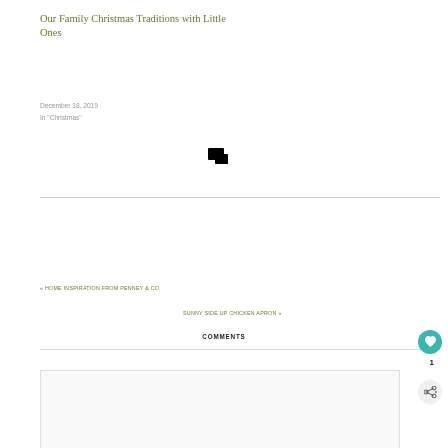Our Family Christmas Traditions with Little Ones
December 18, 2019
In "Christmas"
[Figure (illustration): Two overlapping speech bubble / comment icons in black]
« HOME INSPIRATION FROM PENNEY & CO.
SUNNY SIDE UP CHICKEN APRON »
COMMENTS